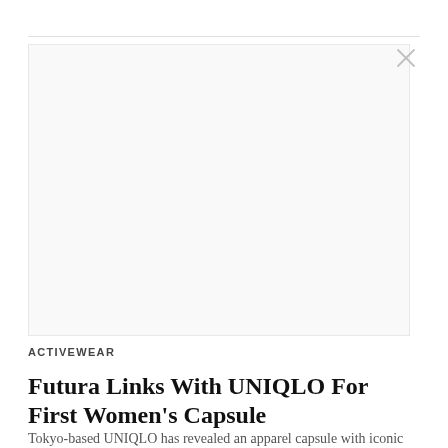[Figure (other): Advertisement placeholder area — blank light gray rectangle with a faint close/dismiss X button in the upper right corner]
ACTIVEWEAR
Futura Links With UNIQLO For First Women's Capsule
Tokyo-based UNIQLO has revealed an apparel capsule with iconic